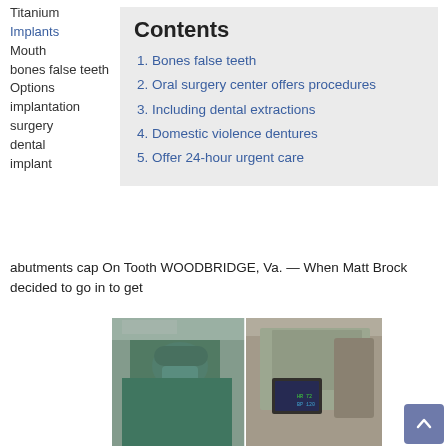Titanium
Implants
Mouth
bones false teeth
Options
implantation
surgery
dental
implant
Contents
1. Bones false teeth
2. Oral surgery center offers procedures
3. Including dental extractions
4. Domestic violence dentures
5. Offer 24-hour urgent care
abutments cap On Tooth WOODBRIDGE, Va. — When Matt Brock decided to go in to get
[Figure (photo): Two-panel photo showing a dental/medical surgeon in scrubs and surgical cap operating, with medical equipment visible]